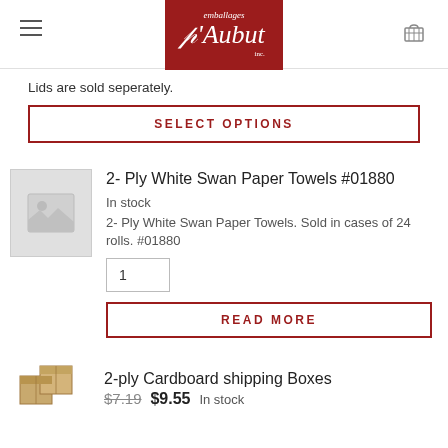[Figure (logo): Emballages L'Aubut inc. logo on red background]
Lids are sold seperately.
SELECT OPTIONS
2- Ply White Swan Paper Towels #01880
In stock
2- Ply White Swan Paper Towels. Sold in cases of 24 rolls. #01880
1
READ MORE
2-ply Cardboard shipping Boxes
$7.19  $9.55  In stock